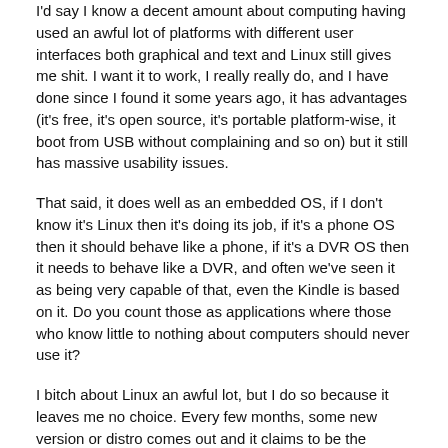I'd say I know a decent amount about computing having used an awful lot of platforms with different user interfaces both graphical and text and Linux still gives me shit. I want it to work, I really really do, and I have done since I found it some years ago, it has advantages (it's free, it's open source, it's portable platform-wise, it boot from USB without complaining and so on) but it still has massive usability issues.
That said, it does well as an embedded OS, if I don't know it's Linux then it's doing its job, if it's a phone OS then it should behave like a phone, if it's a DVR OS then it needs to behave like a DVR, and often we've seen it as being very capable of that, even the Kindle is based on it. Do you count those as applications where those who know little to nothing about computers should never use it?
I bitch about Linux an awful lot, but I do so because it leaves me no choice. Every few months, some new version or distro comes out and it claims to be the second coming on a polycarb disc, and for 5 minutes it is, until I actually try to do anything with it. Again though, I'm not an anti-Linux fanboy, I just want to spend my time using my computer instead of configuring and fixing it.